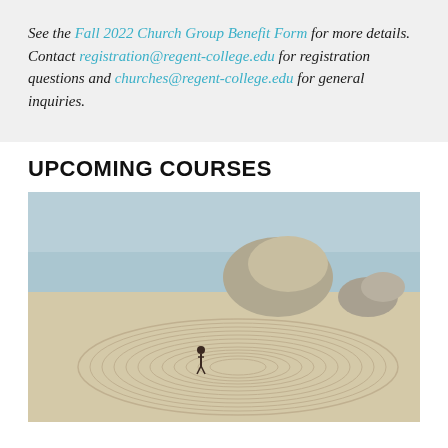See the Fall 2022 Church Group Benefit Form for more details. Contact registration@regent-college.edu for registration questions and churches@regent-college.edu for general inquiries.
UPCOMING COURSES
[Figure (photo): Aerial photograph of a person standing in a large stone labyrinth on a sandy coastal cliff, with the ocean and large rock formations in the background.]